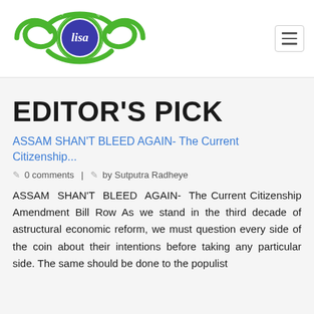[Figure (logo): LISA - London Institute of South Asia logo: green swirl design with blue circle center, text around circle reads 'London Institute of South Asia']
EDITOR'S PICK
ASSAM SHAN'T BLEED AGAIN- The Current Citizenship...
0 comments  |  by Sutputra Radheye
ASSAM SHAN'T BLEED AGAIN- The Current Citizenship Amendment Bill Row As we stand in the third decade of astructural economic reform, we must question every side of the coin about their intentions before taking any particular side. The same should be done to the populist